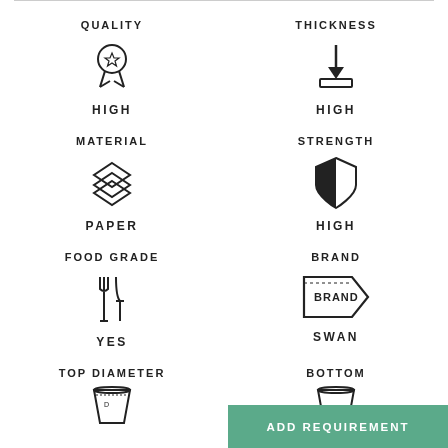[Figure (infographic): Product specification infographic with 6 cells in a 2-column grid: Quality (HIGH), Thickness (HIGH), Material (PAPER), Strength (HIGH), Food Grade (YES), Brand (SWAN), Top Diameter, Bottom (partial)]
QUALITY - HIGH
THICKNESS - HIGH
MATERIAL - PAPER
STRENGTH - HIGH
FOOD GRADE - YES
BRAND - SWAN
TOP DIAMETER
BOTTOM
ADD REQUIREMENT